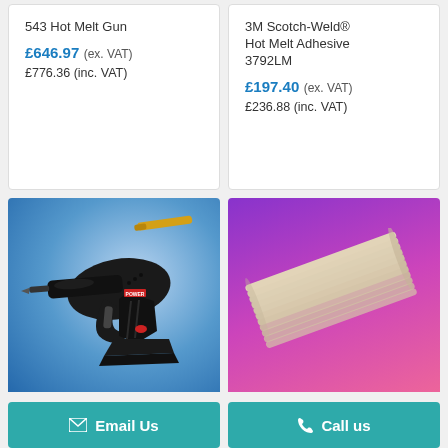543 Hot Melt Gun
£646.97 (ex. VAT)
£776.36 (inc. VAT)
3M Scotch-Weld® Hot Melt Adhesive 3792LM
£197.40 (ex. VAT)
£236.88 (inc. VAT)
[Figure (photo): Black hot melt glue gun with yellow glue stick, on a blue gradient background]
[Figure (photo): Stack of beige/cream hot melt adhesive sticks on a purple-to-pink gradient background]
Email Us
Call us